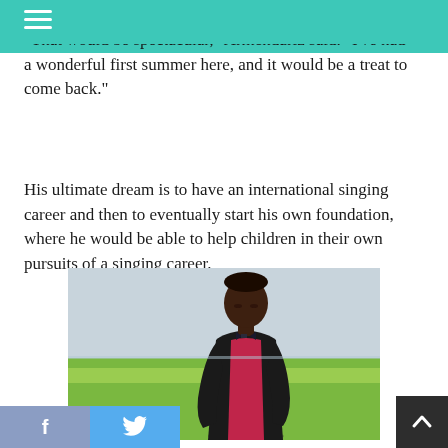"That would be spectacular," Armendariz said. "I've had a wonderful first summer here, and it would be a treat to come back."
His ultimate dream is to have an international singing career and then to eventually start his own foundation, where he would be able to help children in their own pursuits of a singing career.
[Figure (photo): A young Black male teenager wearing a black suit jacket and magenta/red dress shirt, standing in a field of green grass with a light sky in the background, looking downward.]
f  [Twitter bird icon]